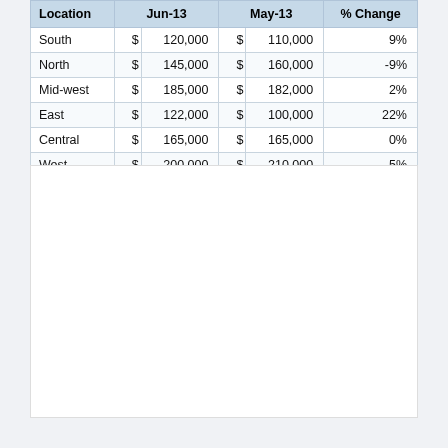| Location | Jun-13 |  | May-13 |  | % Change |
| --- | --- | --- | --- | --- | --- |
| South | $ | 120,000 | $ | 110,000 | 9% |
| North | $ | 145,000 | $ | 160,000 | -9% |
| Mid-west | $ | 185,000 | $ | 182,000 | 2% |
| East | $ | 122,000 | $ | 100,000 | 22% |
| Central | $ | 165,000 | $ | 165,000 | 0% |
| West | $ | 200,000 | $ | 210,000 | -5% |